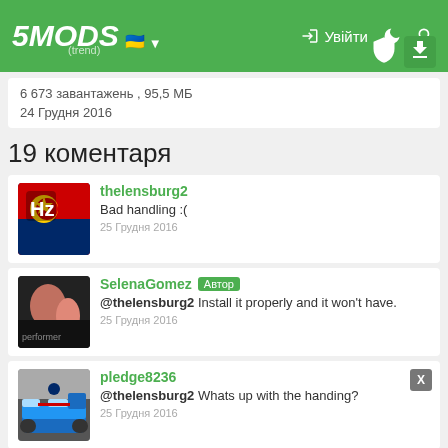5MODS Увійти
6 673 завантажень , 95,5 МБ
24 Грудня 2016
19 коментаря
thelensburg2
Bad handling :(
25 Грудня 2016
SelenaGomez Автор
@thelensburg2 Install it properly and it won't have.
25 Грудня 2016
pledge8236
@thelensburg2 Whats up with the handing?
25 Грудня 2016